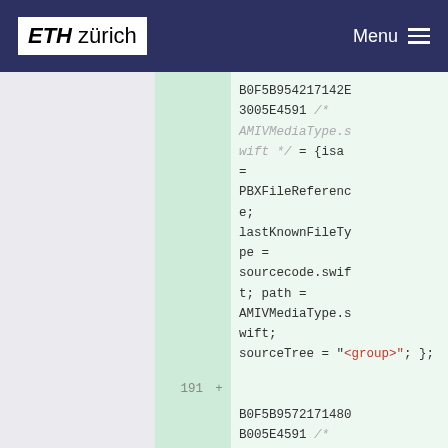ETH zürich  Menu
B0F5B954217142E3005E4591 /* AMIVMediaType.swift */ = {isa = PBXFileReference; lastKnownFileType = sourcecode.swift; path = AMIVMediaType.swift; sourceTree = "<group>"; };
191 +
B0F5B9572171480B005E4591 /*